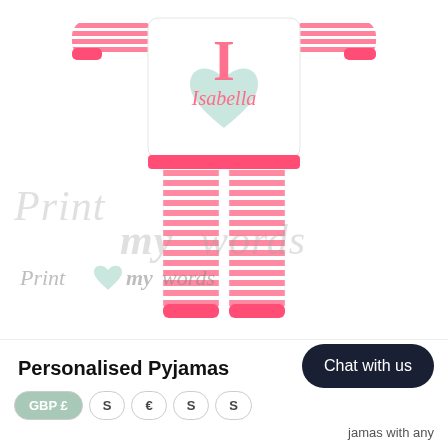[Figure (photo): Children's personalised pink and white striped pyjamas with letter I and name Isabella on the top, displayed flat. Pink striped arms and legs with pink cuffs. A mint/light teal heart shape on the chest. Watermark 'Print my words' across the middle and bottom left.]
Personalised Pyjamas
Chat with us
GBP £
S
€
S
S
jamas with any